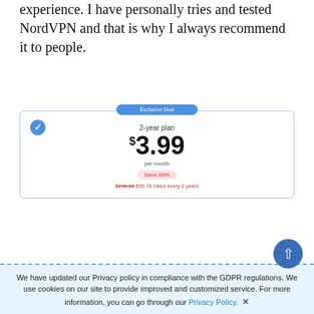experience. I have personally tries and tested NordVPN and that is why I always recommend it to people.
[Figure (infographic): NordVPN pricing card with Exclusive Deal badge, 2-year plan at $3.99 per month, Save 60% badge, and billing info showing $296.00 $95.76 billed every 2 years]
NordVPN is currently offering a great discount, a package at GB£2.65/mo, which is quite reasonable rate with respect to the quality and features it offers.
NordVPN 1 year plan discount is around 41%, which means that you can avail a full year of online
We have updated our Privacy policy in compliance with the GDPR regulations. We use cookies on our site to provide improved and customized service. For more information, you can go through our Privacy Policy. ✕